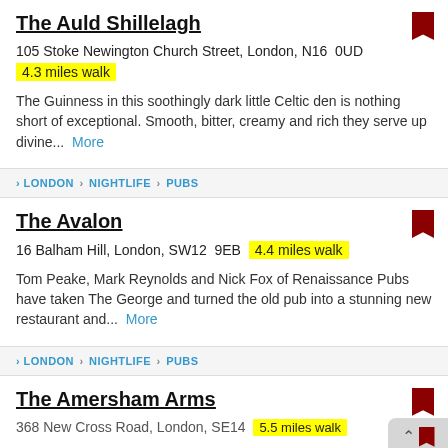The Auld Shillelagh
105 Stoke Newington Church Street, London, N16  0UD
4.3 miles walk
The Guinness in this soothingly dark little Celtic den is nothing short of exceptional. Smooth, bitter, creamy and rich they serve up divine...  More
LONDON > NIGHTLIFE > PUBS
The Avalon
16 Balham Hill, London, SW12  9EB  4.4 miles walk
Tom Peake, Mark Reynolds and Nick Fox of Renaissance Pubs have taken The George and turned the old pub into a stunning new restaurant and...  More
LONDON > NIGHTLIFE > PUBS
The Amersham Arms
368 New Cross Road, London, SE14  5.5 miles walk